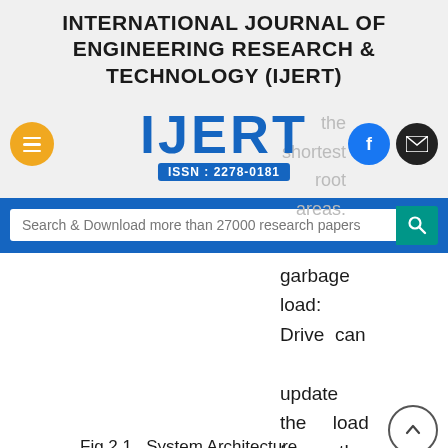INTERNATIONAL JOURNAL OF ENGINEERING RESEARCH & TECHNOLOGY (IJERT)
[Figure (logo): IJERT logo with ISSN: 2278-0181, hamburger menu button (orange), Facebook button (blue), and email button (dark)]
the shortest root areas.
Search & Download more than 27000 research papers
garbage load: Drive can update the load for the garbage.
Fig.2.1. System Architecture